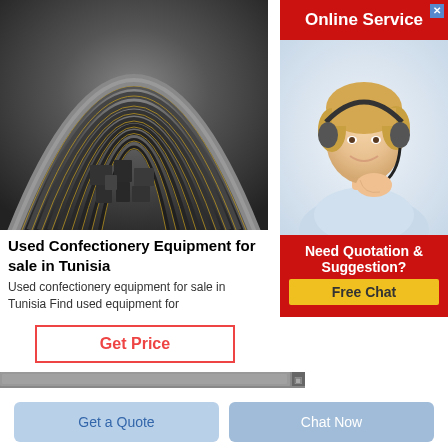[Figure (photo): Industrial confectionery or mill equipment showing curved metal arcs/rings with markings, viewed from above]
Used Confectionery Equipment for sale in Tunisia
Used confectionery equipment for sale in Tunisia Find used equipment for
[Figure (infographic): Get Price button with red border]
[Figure (photo): Online Service advertisement with woman wearing headset, red banner saying Online Service, Need Quotation & Suggestion? Free Chat button]
[Figure (photo): Partial image strip at bottom]
Get a Quote
Chat Now